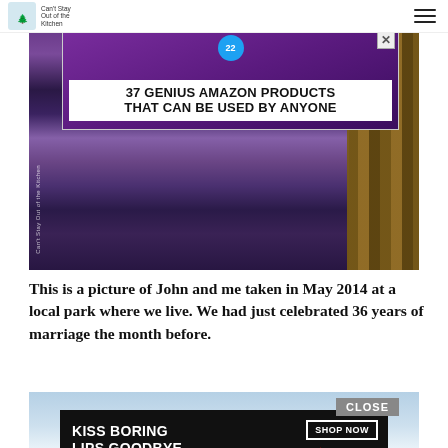Can't Stay Out of the Kitchen
[Figure (photo): Advertisement banner: 37 GENIUS AMAZON PRODUCTS THAT CAN BE USED BY ANYONE, with purple headphones and badge showing 22]
[Figure (photo): Photo of John and the author at a local park, May 2014, showing two people standing close together outdoors near wooden fence, watermark reading Can't Stay Out of the Kitchen]
This is a picture of John and me taken in May 2014 at a local park where we live. We had just celebrated 36 years of marriage the month before.
[Figure (photo): Partial photo visible at bottom of page showing sky/outdoor scene with CLOSE button overlay]
[Figure (photo): Macy's advertisement: KISS BORING LIPS GOODBYE with SHOP NOW button and Macy's star logo]